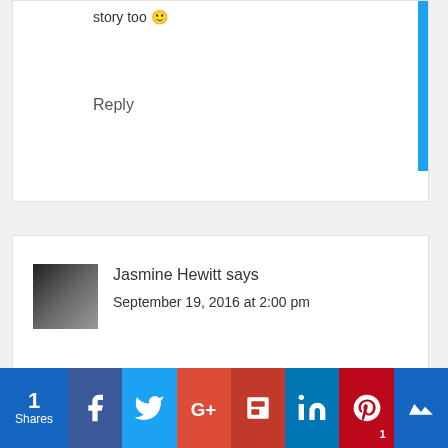story too 🙂
Reply
Jasmine Hewitt says
September 19, 2016 at 2:00 pm
We use cookies on our website to give you the most relevant experience by remembering your preferences and repeat visits. By clicking "Accept All", you consent to the use of ALL the cookies. However, you may visit "Cookie Settings" to provide a controlled consent.
1 Shares